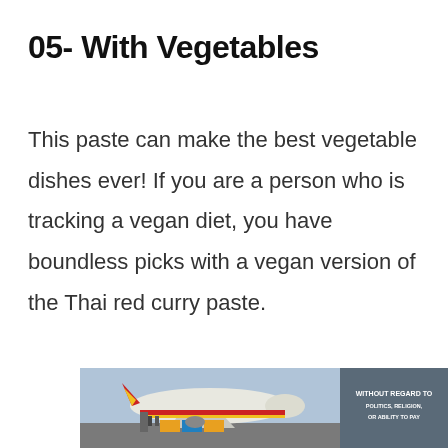05- With Vegetables
This paste can make the best vegetable dishes ever! If you are a person who is tracking a vegan diet, you have boundless picks with a vegan version of the Thai red curry paste.
[Figure (photo): An advertisement banner showing a cargo airplane being loaded on an airport tarmac, with a dark grey sidebar containing text 'WITHOUT REGARD TO POLITICS, RELIGION, OR ABILITY TO PAY']